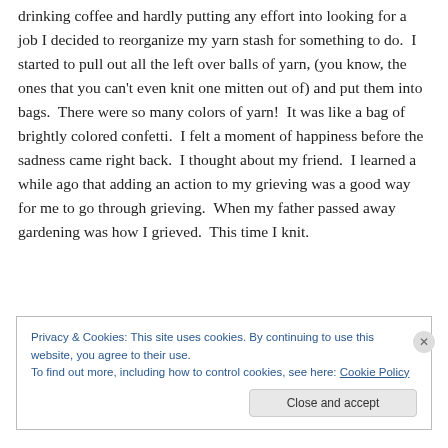drinking coffee and hardly putting any effort into looking for a job I decided to reorganize my yarn stash for something to do.  I started to pull out all the left over balls of yarn, (you know, the ones that you can't even knit one mitten out of) and put them into bags.  There were so many colors of yarn!  It was like a bag of brightly colored confetti.  I felt a moment of happiness before the sadness came right back.  I thought about my friend.  I learned a while ago that adding an action to my grieving was a good way for me to go through grieving.  When my father passed away gardening was how I grieved.  This time I knit.
Privacy & Cookies: This site uses cookies. By continuing to use this website, you agree to their use.
To find out more, including how to control cookies, see here: Cookie Policy